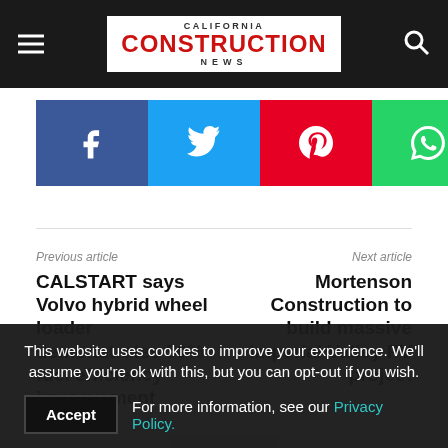CALIFORNIA CONSTRUCTION NEWS
[Figure (other): Social sharing buttons: Facebook, Twitter, Pinterest, WhatsApp]
Previous article
Next article
CALSTART says Volvo hybrid wheel loader demonstrates 50% fuel efficiency improvement
Mortenson Construction to build massive Imperial Valley PV project
This website uses cookies to improve your experience. We'll assume you're ok with this, but you can opt-out if you wish.
Accept  For more information, see our Privacy Policy.